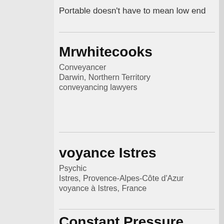Portable doesn't have to mean low end
Mrwhitecooks
Conveyancer
Darwin, Northern Territory
conveyancing lawyers
voyance Istres
Psychic
Istres, Provence-Alpes-Côte d'Azur
voyance à Istres, France
Constant Pressure Washing